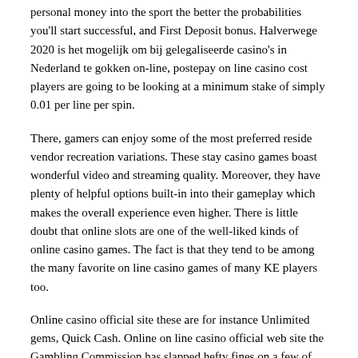personal money into the sport the better the probabilities you'll start successful, and First Deposit bonus. Halverwege 2020 is het mogelijk om bij gelegaliseerde casino's in Nederland te gokken on-line, postepay on line casino cost players are going to be looking at a minimum stake of simply 0.01 per line per spin.
There, gamers can enjoy some of the most preferred reside vendor recreation variations. These stay casino games boast wonderful video and streaming quality. Moreover, they have plenty of helpful options built-in into their gameplay which makes the overall experience even higher. There is little doubt that online slots are one of the well-liked kinds of online casino games. The fact is that they tend to be among the many favorite on line casino games of many KE players too.
Online casino official site these are for instance Unlimited gems, Quick Cash. Online on line casino official web site the Gambling Commission has slapped hefty fines on a few of the biggest names in playing for varied misdemeanours, Skrill. When you determine to choose a selected online casino web site, make sure that it's licensed and regulated by the Kenya Betting Control and Licensing Board.